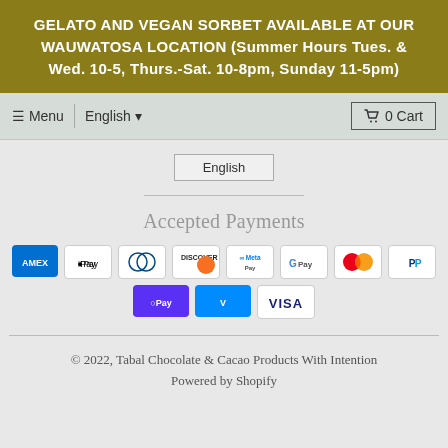GELATO AND VEGAN SORBET AVAILABLE AT OUR WAUWATOSA LOCATION (Summer Hours Tues. & Wed. 10-5, Thurs.-Sat. 10-8pm, Sunday 11-5pm)
≡ Menu | English ▼  🛒 0 Cart
English
Accepted Payments
[Figure (infographic): Row of payment method icons: AMEX, Apple Pay, Diners Club, Discover, Meta Pay, Google Pay, Mastercard, PayPal, Shop Pay, Venmo, Visa]
© 2022, Tabal Chocolate & Cacao Products With Intention
Powered by Shopify